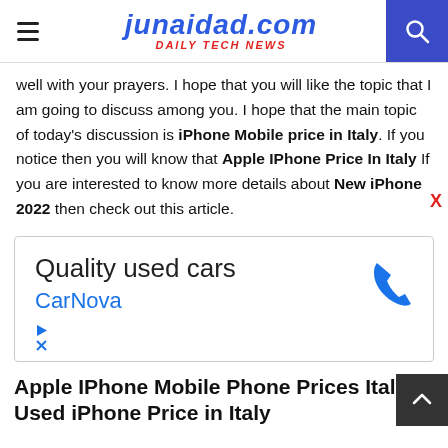junaidad.com DAILY TECH NEWS
well with your prayers. I hope that you will like the topic that I am going to discuss among you. I hope that the main topic of today's discussion is iPhone Mobile price in Italy. If you notice then you will know that Apple IPhone Price In Italy If you are interested to know more details about New iPhone 2022 then check out this article.
[Figure (other): Advertisement for CarNova: Quality used cars with phone icon and CarNova branding in blue]
Apple IPhone Mobile Phone Prices Italy | Used iPhone Price in Italy